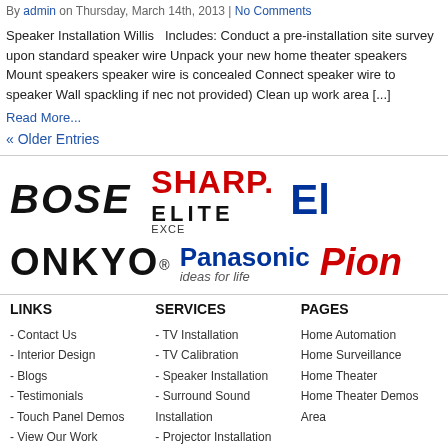By admin on Thursday, March 14th, 2013 | No Comments
Speaker Installation Willis   Includes: Conduct a pre-installation site survey upon standard speaker wire Unpack your new home theater speakers Mount speakers speaker wire is concealed Connect speaker wire to speaker Wall spackling if nec not provided) Clean up work area [...]
Read More...
« Older Entries
[Figure (logo): Brand logos: BOSE, SHARP ELITE, partial E logo with EXCE text, ONKYO, Panasonic ideas for life, Pioneer (partial)]
LINKS
SERVICES
PAGES
- Contact Us
- Interior Design
- Blogs
- Testimonials
- Touch Panel Demos
- View Our Work
- Home Automation
- TV Installation
- TV Calibration
- Speaker Installation
- Surround Sound Installation
- Projector Installation
- Home Theater
Home Automation
Home Surveillance
Home Theater
Home Theater Area